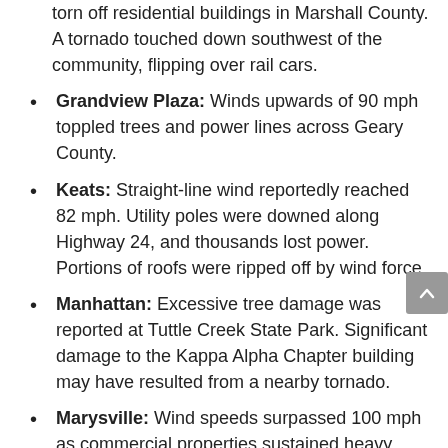torn off residential buildings in Marshall County. A tornado touched down southwest of the community, flipping over rail cars.
Grandview Plaza: Winds upwards of 90 mph toppled trees and power lines across Geary County.
Keats: Straight-line wind reportedly reached 82 mph. Utility poles were downed along Highway 24, and thousands lost power. Portions of roofs were ripped off by wind force.
Manhattan: Excessive tree damage was reported at Tuttle Creek State Park. Significant damage to the Kappa Alpha Chapter building may have resulted from a nearby tornado.
Marysville: Wind speeds surpassed 100 mph as commercial properties sustained heavy storm damage, and retail buildings suffered structural damage. Social media reports from the scene